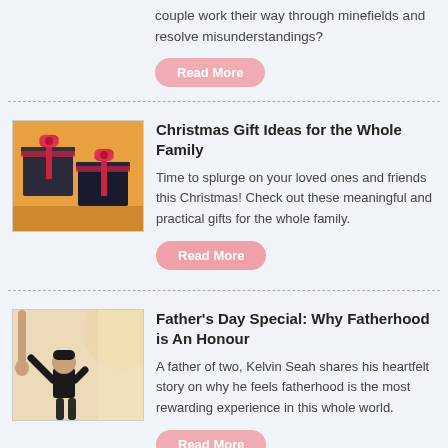couple work their way through minefields and resolve misunderstandings?
Read More
Christmas Gift Ideas for the Whole Family
Time to splurge on your loved ones and friends this Christmas! Check out these meaningful and practical gifts for the whole family.
Read More
Father's Day Special: Why Fatherhood is An Honour
A father of two, Kelvin Seah shares his heartfelt story on why he feels fatherhood is the most rewarding experience in this whole world.
Read More